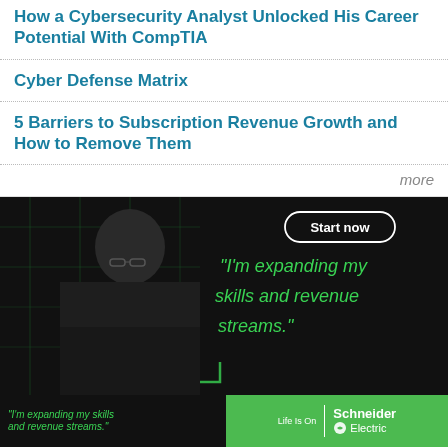How a Cybersecurity Analyst Unlocked His Career Potential With CompTIA
Cyber Defense Matrix
5 Barriers to Subscription Revenue Growth and How to Remove Them
more
[Figure (photo): Advertisement image: dark background with green grid lines, man working at desk, text 'I'm expanding my skills and revenue streams.' in green handwritten font, 'Start now' button in white rounded border]
[Figure (infographic): Bottom banner advertisement: left dark section with green handwritten text 'I'm expanding my skills and revenue streams.', right green section with 'Life Is On | Schneider Electric' branding logo]